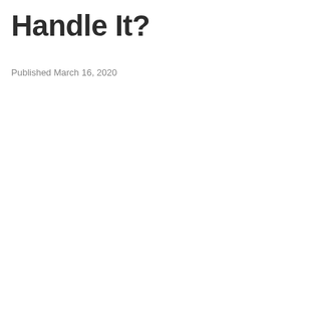Handle It?
Published March 16, 2020